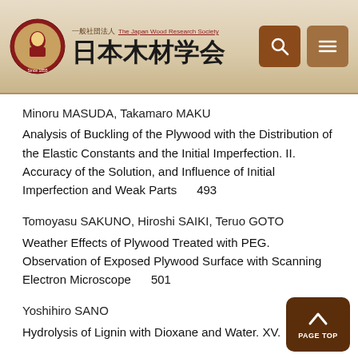一般社団法人 日本木材学会
Minoru MASUDA, Takamaro MAKU
Analysis of Buckling of the Plywood with the Distribution of the Elastic Constants and the Initial Imperfection. II. Accuracy of the Solution, and Influence of Initial Imperfection and Weak Parts     493
Tomoyasu SAKUNO, Hiroshi SAIKI, Teruo GOTO
Weather Effects of Plywood Treated with PEG. Observation of Exposed Plywood Surface with Scanning Electron Microscope     501
Yoshihiro SANO
Hydrolysis of Lignin with Dioxane and Water. XV.